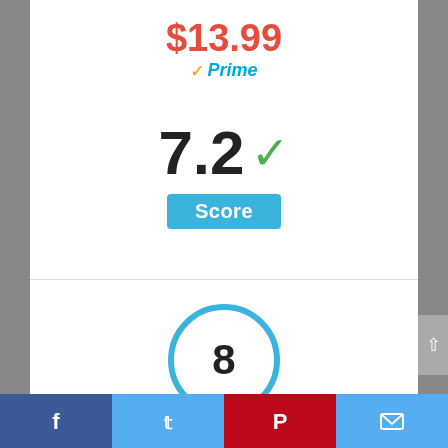$13.99
✓Prime
7.2 ✓
Score
[Figure (infographic): Circle badge with number 8 inside, outlined in blue]
Facebook | Twitter | Pinterest | Email social share bar